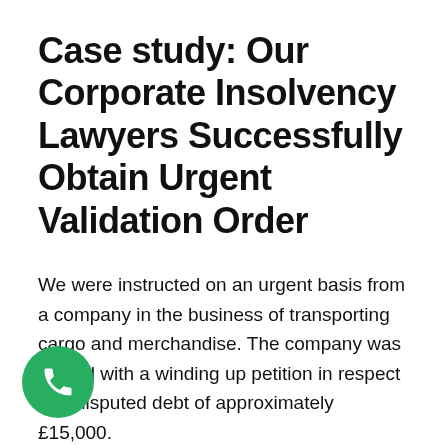Case study: Our Corporate Insolvency Lawyers Successfully Obtain Urgent Validation Order
We were instructed on an urgent basis from a company in the business of transporting cargo and merchandise. The company was served with a winding up petition in respect of a disputed debt of approximately £15,000.
The company required an urgent validation order to unfreeze its bank accounts so that it could continue trading and making day-to-day payments to its suppliers